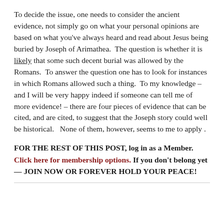To decide the issue, one needs to consider the ancient evidence, not simply go on what your personal opinions are based on what you've always heard and read about Jesus being buried by Joseph of Arimathea.  The question is whether it is likely that some such decent burial was allowed by the Romans.  To answer the question one has to look for instances in which Romans allowed such a thing.  To my knowledge – and I will be very happy indeed if someone can tell me of more evidence! – there are four pieces of evidence that can be cited, and are cited, to suggest that the Joseph story could well be historical.   None of them, however, seems to me to apply .
FOR THE REST OF THIS POST, log in as a Member. Click here for membership options. If you don't belong yet — JOIN NOW OR FOREVER HOLD YOUR PEACE!